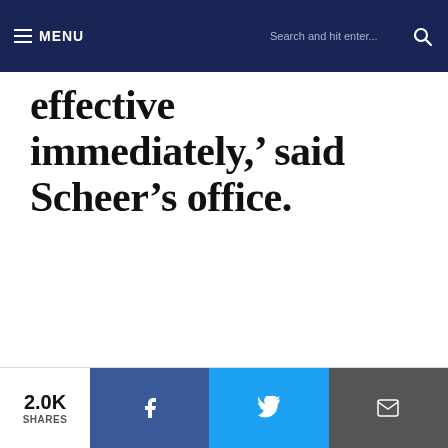MENU | Search and hit enter...
effective immediately,' said Scheer's office.
2.0K SHARES | Facebook | Twitter | Email